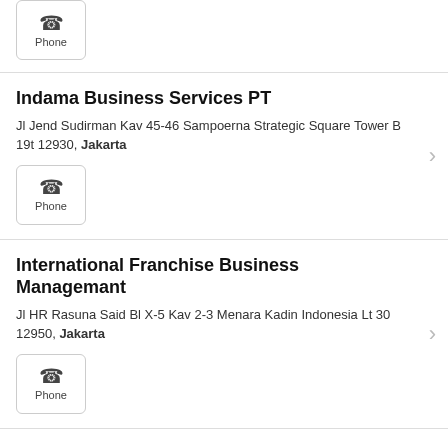Phone
Indama Business Services PT
Jl Jend Sudirman Kav 45-46 Sampoerna Strategic Square Tower B 19t 12930, Jakarta
Phone
International Franchise Business Managemant
Jl HR Rasuna Said Bl X-5 Kav 2-3 Menara Kadin Indonesia Lt 30 12950, Jakarta
Phone